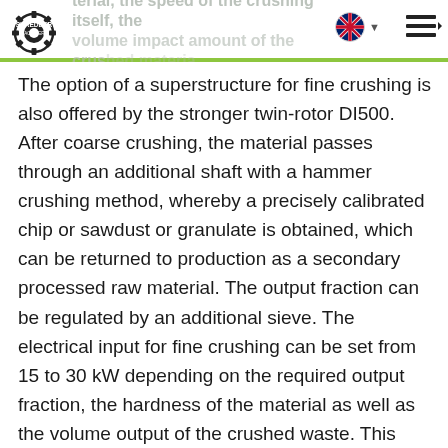…terial, the speed of the crushing itself, the volume impact amount of the crushed material
The option of a superstructure for fine crushing is also offered by the stronger twin-rotor DI500. After coarse crushing, the material passes through an additional shaft with a hammer crushing method, whereby a precisely calibrated chip or sawdust or granulate is obtained, which can be returned to production as a secondary processed raw material. The output fraction can be regulated by an additional sieve. The electrical input for fine crushing can be set from 15 to 30 kW depending on the required output fraction, the hardness of the material as well as the volume output of the crushed waste. This unique two-section crushing process saves significant operating costs, the purchase of crushers, as well as production space.